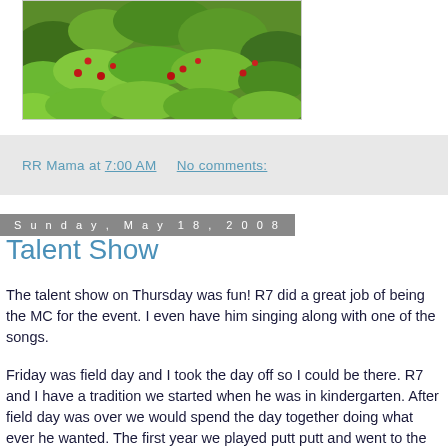[Figure (photo): Photograph of green leafy plants/shrubs with berries, partially visible at top of page]
RR Mama at 7:00 AM    No comments:
Sunday, May 18, 2008
Talent Show
The talent show on Thursday was fun! R7 did a great job of being the MC for the event. I even have him singing along with one of the songs.
Friday was field day and I took the day off so I could be there. R7 and I have a tradition we started when he was in kindergarten. After field day was over we would spend the day together doing what ever he wanted. The first year we played putt putt and went to the mall so he could be hooked up to some sort of contraption and jump what I thought was about 1,000 ft in the air, you can imagine how something